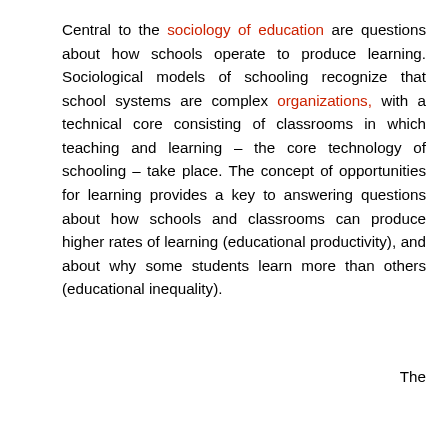Central to the sociology of education are questions about how schools operate to produce learning. Sociological models of schooling recognize that school systems are complex organizations, with a technical core consisting of classrooms in which teaching and learning – the core technology of schooling – take place. The concept of opportunities for learning provides a key to answering questions about how schools and classrooms can produce higher rates of learning (educational productivity), and about why some students learn more than others (educational inequality).
The